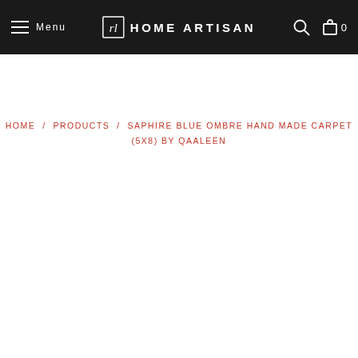Menu | HOME ARTISAN | 0
HOME / PRODUCTS / SAPHIRE BLUE OMBRE HAND MADE CARPET (5X8) BY QAALEEN